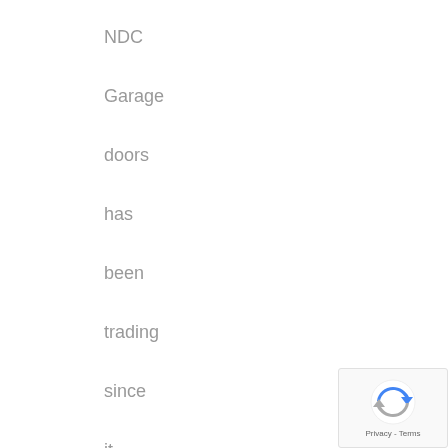NDC Garage doors has been trading since it was first established in 1983 by Ken Couldrey. Ken identified
[Figure (logo): reCAPTCHA badge with spinning arrow icon and Privacy - Terms text]